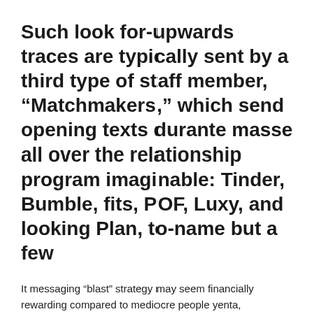Such look for-upwards traces are typically sent by a third type of staff member, “Matchmakers,” which send opening texts durante masse all over the relationship program imaginable: Tinder, Bumble, fits, POF, Luxy, and looking Plan, to-name but a few
It messaging “blast” strategy may seem financially rewarding compared to mediocre people yenta, nevertheless possess took place for me one to a beneficial relationships might not enter the business’s economic attention. When an individual sets upwards, it log off this service membership. In accordance with ViDA charging for each and every visitors between $495 so you can